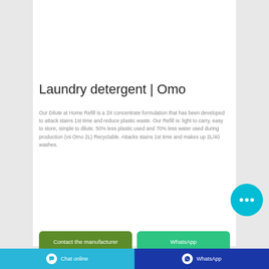[Figure (photo): Yellow plastic laundry detergent bottle (Omo brand) against a light grey background, shown from the front, partially cropped at top]
Laundry detergent | Omo
Our Dilute at Home Refill is a 3X concentrate formulation that has been developed to attack stains 1st time and reduce plastic waste. Our Refill is: light to carry, easy to store, simple to dilute. 50% less plastic used and 70% less water used during production (vs Omo 2L) Recyclable. Attacks stains 1st time and makes up 2L/40 washes.
[Figure (other): Cyan circular chat bubble button with three dots]
Contact the manufacturer
WhatsApp
Chat online   WhatsApp